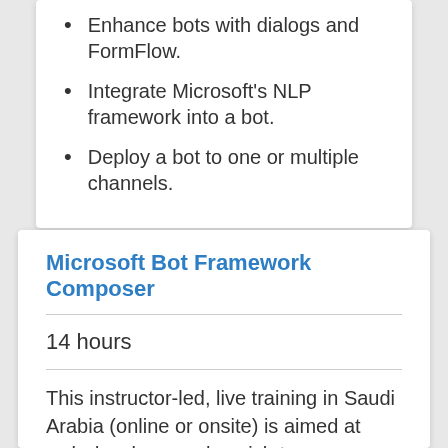Enhance bots with dialogs and FormFlow.
Integrate Microsoft's NLP framework into a bot.
Deploy a bot to one or multiple channels.
Microsoft Bot Framework Composer
14 hours
This instructor-led, live training in Saudi Arabia (online or onsite) is aimed at web developers who wish to use Microsoft Bot Framework Composer to design, build, and test conversational AI applications. By the end of this training, participants will be able to:
Set up the necessary development environment to start developing bot projects.
Create a bot and integrate additional